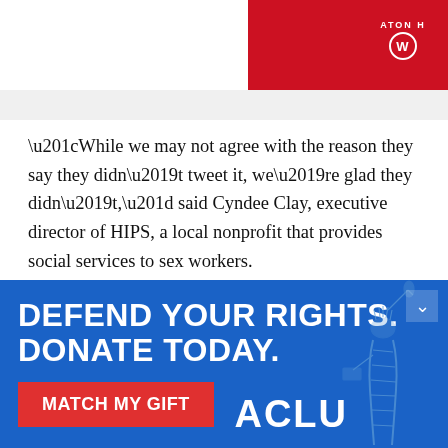[Figure (photo): Partial view of a person wearing a red Washington Nationals baseball jersey, visible in the upper right corner of the page.]
“While we may not agree with the reason they say they didn’t tweet it, we’re glad they didn’t,” said Cyndee Clay, executive director of HIPS, a local nonprofit that provides social services to sex workers.
To disrupt the police department’s plan to document the
[Figure (infographic): ACLU advertisement banner with blue background. Text reads: DEFEND YOUR RIGHTS. DONATE TODAY. with a red MATCH MY GIFT button, ACLU logo, and Statue of Liberty graphic.]